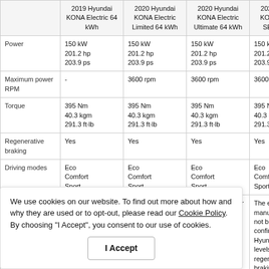|  | 2019 Hyundai KONA Electric 64 kWh | 2020 Hyundai KONA Electric Limited 64 kWh | 2020 Hyundai KONA Electric Ultimate 64 kWh | 2020 Hyundai KONA Electric SEL 64 kWh |
| --- | --- | --- | --- | --- |
| Power | 150 kW
201.2 hp
203.9 ps | 150 kW
201.2 hp
203.9 ps | 150 kW
201.2 hp
203.9 ps | 150 kW
201.2 hp
203.9 ps |
| Maximum power RPM | - | 3600 rpm | 3600 rpm | 3600 rpm |
| Torque | 395 Nm
40.3 kgm
291.3 ft·lb | 395 Nm
40.3 kgm
291.3 ft·lb | 395 Nm
40.3 kgm
291.3 ft·lb | 395 Nm
40.3 kgm
291.3 ft·lb |
| Regenerative braking | Yes | Yes | Yes | Yes |
| Driving modes | Eco
Comfort
Sport | Eco
Comfort
Sport | Eco
Comfort
Sport | Eco
Comfort
Sport |
|  | The electric motor manufacturer | The electric motor manufacturer | The electric motor manufacturer | The electric motor manufacturer has not been officially confirmed by Hyundai. Three levels of regenerative braking. |
We use cookies on our website. To find out more about how and why they are used or to opt-out, please read our Cookie Policy. By choosing "I Accept", you consent to our use of cookies.